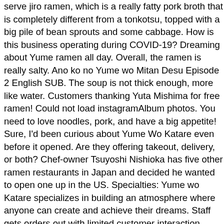serve jiro ramen, which is a really fatty pork broth that is completely different from a tonkotsu, topped with a big pile of bean sprouts and some cabbage. How is this business operating during COVID-19? Dreaming about Yume ramen all day. Overall, the ramen is really salty. Ano ko no Yume wo Mitan Desu Episode 2 English SUB. The soup is not thick enough, more like water. Customers thanking Yuta Mishima for free ramen! Could not load instagramAlbum photos. You need to love noodles, pork, and have a big appetite! Sure, I'd been curious about Yume Wo Katare even before it opened. Are they offering takeout, delivery, or both? Chef-owner Tsuyoshi Nishioka has five other ramen restaurants in Japan and decided he wanted to open one up in the US. Specialties: Yume wo Katare specializes in building an atmosphere where anyone can create and achieve their dreams. Staff gets orders out with limited customer interaction.... more. Oct 14, 2019 - Diners wait in line for hours to eat at this small, Boston ramen restaurant. Wed: 4pm-8pm; Thu: 4pm-8pm; Fri: … Latest reviews, photos and ratings for Yume Wo Katare at 1923 Massachusetts Ave in Cambridge - view the menu, 🕐hours, 📍address and map. Cambridge, Massachusetts. 905 reviews of Yume Wo Katare "Check the hours. Ummmmmm. That was whey I decided to give it a try. apan pro 2 hours ago. Yume Wo Katare is found in Cambridge, which many know as the home to MIT and Harvard University. Closed Opens at 17:00 +1 617-714-4008. Yume Wo Katare! With that, some thick chashu (more pork fat!) Yume wo Katare, Bunkyo: See unbiased reviews of Yume wo Katare, one